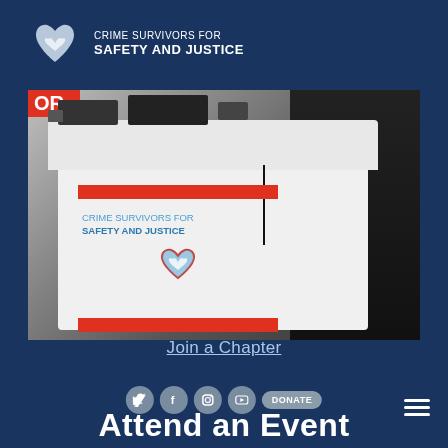[Figure (logo): Crime Survivors for Safety and Justice logo with heart/hands icon and white text on dark blue background]
[Figure (photo): Photo of a podium/lectern at an outdoor event with Crime Survivors for Safety and Justice branding, red accent bars, logo and text on the podium front, with equipment on top and a dark-clothed person standing to the right]
Join a Chapter
Attend an Event